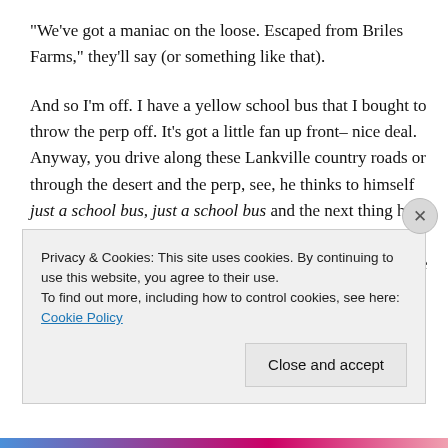“We’ve got a maniac on the loose. Escaped from Briles Farms,” they’ll say (or something like that).

And so I’m off. I have a yellow school bus that I bought to throw the perp off. It’s got a little fan up front– nice deal. Anyway, you drive along these Lankville country roads or through the desert and the perp, see, he thinks to himself just a school bus, just a school bus and the next thing he knows, I’m on him. Like a possum in a persimmon tree. Yep, on him hard– I’m not bound by any sort of this police brutality crap. Because I’m not police.
Privacy & Cookies: This site uses cookies. By continuing to use this website, you agree to their use.
To find out more, including how to control cookies, see here: Cookie Policy